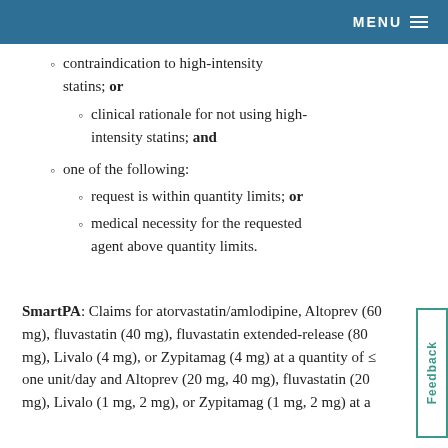MENU
contraindication to high-intensity statins; or
clinical rationale for not using high-intensity statins; and
one of the following:
request is within quantity limits; or
medical necessity for the requested agent above quantity limits.
SmartPA: Claims for atorvastatin/amlodipine, Altoprev (60 mg), fluvastatin (40 mg), fluvastatin extended-release (80 mg), Livalo (4 mg), or Zypitamag (4 mg) at a quantity of ≤ one unit/day and Altoprev (20 mg, 40 mg), fluvastatin (20 mg), Livalo (1 mg, 2 mg), or Zypitamag (1 mg, 2 mg) at a